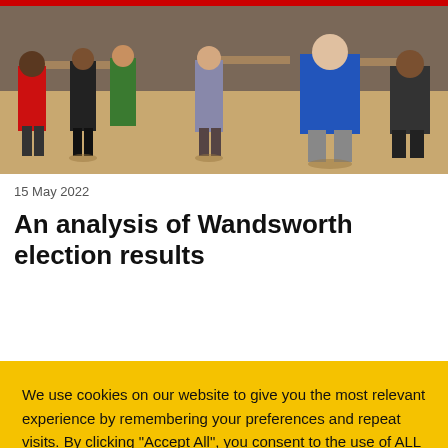[Figure (photo): People standing at tables in a vote counting hall, wearing coloured tops including red and blue. Wooden floor visible.]
15 May 2022
An analysis of Wandsworth election results
We use cookies on our website to give you the most relevant experience by remembering your preferences and repeat visits. By clicking "Accept All", you consent to the use of ALL the cookies. However, you may visit "Cookie Settings" to provide a controlled consent.